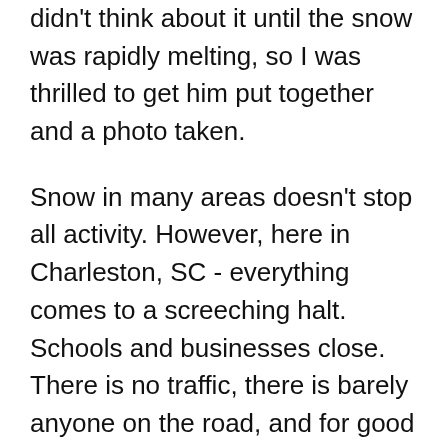didn't think about it until the snow was rapidly melting, so I was thrilled to get him put together and a photo taken.
Snow in many areas doesn't stop all activity. However, here in Charleston, SC - everything comes to a screeching halt. Schools and businesses close. There is no traffic, there is barely anyone on the road, and for good reason.
Growing up in Michigan, and driving in snow, the first time it snowed in Charleston (after hurricane Hugo in 1989), I thought, ha… I've got this! Ahhh, wrong! For those of you in the North/Mid West - it's like driving on black ice. No control. But there